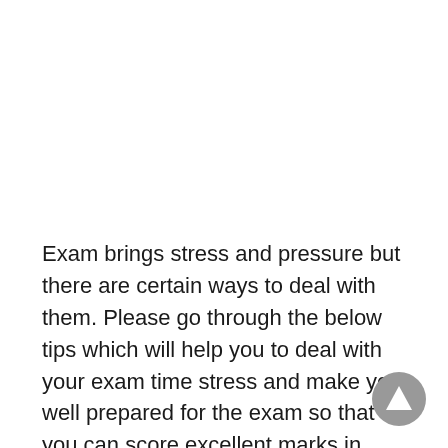Exam brings stress and pressure but there are certain ways to deal with them. Please go through the below tips which will help you to deal with your exam time stress and make you well prepared for the exam so that you can score excellent marks in your exams:
[Figure (other): Gray circular navigation button with upward-pointing triangle/arrow icon in the bottom-right corner]